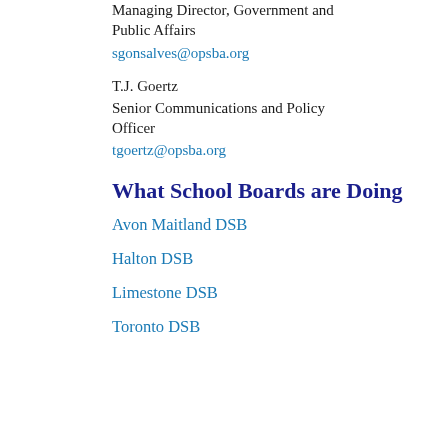Managing Director, Government and Public Affairs
sgonsalves@opsba.org
T.J. Goertz
Senior Communications and Policy Officer
tgoertz@opsba.org
What School Boards are Doing
Avon Maitland DSB
Halton DSB
Limestone DSB
Toronto DSB